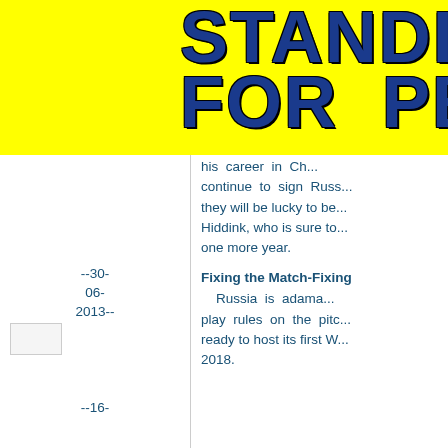STANDING FOR PEA[CE]
his career in Ch... continue to sign Russ... they will be lucky to be... Hiddink, who is sure to... one more year.
--30-06-2013--
Fixing the Match-Fixing
[Figure (photo): Small image placeholder]
Russia is adama... play rules on the pitc... ready to host its first W... 2018.
--16-